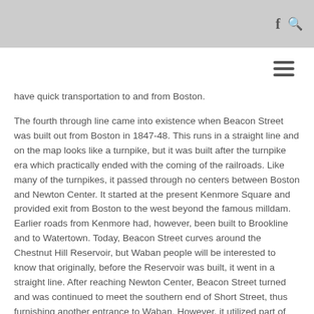f 🔍
have quick transportation to and from Boston.
The fourth through line came into existence when Beacon Street was built out from Boston in 1847-48. This runs in a straight line and on the map looks like a turnpike, but it was built after the turnpike era which practically ended with the coming of the railroads. Like many of the turnpikes, it passed through no centers between Boston and Newton Center. It started at the present Kenmore Square and provided exit from Boston to the west beyond the famous milldam. Earlier roads from Kenmore had, however, been built to Brookline and to Watertown. Today, Beacon Street curves around the Chestnut Hill Reservoir, but Waban people will be interested to know that originally, before the Reservoir was built, it went in a straight line. After reaching Newton Center, Beacon Street turned and was continued to meet the southern end of Short Street, thus furnishing another entrance to Waban. However, it utilized part of the old road of 1702 to make